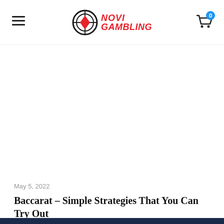NOVI GAMBLING
May 5, 2022
Baccarat – Simple Strategies That You Can Try Out